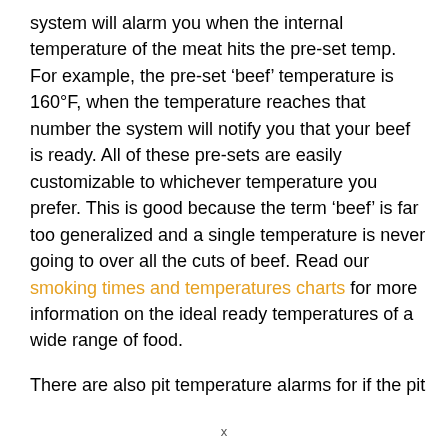system will alarm you when the internal temperature of the meat hits the pre-set temp. For example, the pre-set ‘beef’ temperature is 160°F, when the temperature reaches that number the system will notify you that your beef is ready. All of these pre-sets are easily customizable to whichever temperature you prefer. This is good because the term ‘beef’ is far too generalized and a single temperature is never going to over all the cuts of beef. Read our smoking times and temperatures charts for more information on the ideal ready temperatures of a wide range of food.
There are also pit temperature alarms for if the pit
x